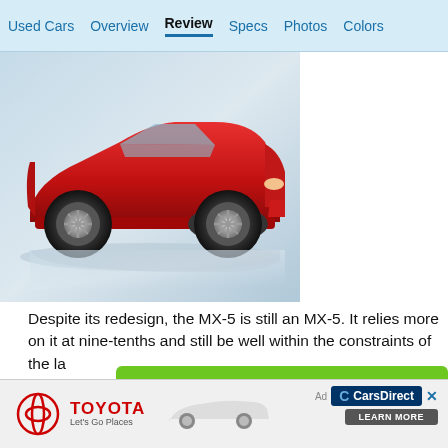Used Cars  Overview  Review  Specs  Photos  Colors
[Figure (photo): Red Mazda MX-5 Miata convertible sports car shown in side profile against a light blue-grey studio background]
Despite its redesign, the MX-5 is still an MX-5. It relies more on it at nine-tenths and still be well within the constraints of the la
[Figure (other): Green button/call-to-action bar]
Find You
[Figure (other): Advertisement banner: Toyota Let's Go Places with CarsDirect logo and Learn More button]